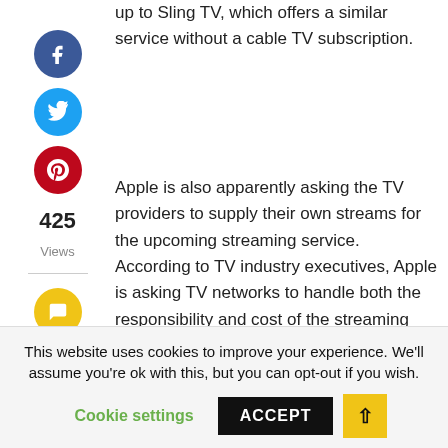up to Sling TV, which offers a similar service without a cable TV subscription.
[Figure (illustration): Social media share buttons: Facebook (blue circle), Twitter (cyan circle), Pinterest (red circle), Comment (yellow circle). View count: 425 Views.]
Apple is also apparently asking the TV providers to supply their own streams for the upcoming streaming service. According to TV industry executives, Apple is asking TV networks to handle both the responsibility and cost of the streaming infrastructure. It may not be a huge ask –
This website uses cookies to improve your experience. We'll assume you're ok with this, but you can opt-out if you wish.
Cookie settings   ACCEPT